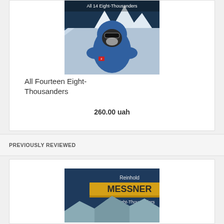[Figure (photo): Book cover image showing a mountaineer in blue jacket and goggles with snowy mountain peaks in background, text 'All 14 Eight-Thousanders' visible at top]
All Fourteen Eight-Thousanders
260.00 uah
PREVIOUSLY REVIEWED
[Figure (photo): Book cover for 'All 14 Eight-Thousanders' by Reinhold Messner, dark blue background with yellow MESSNER text and mountain imagery at bottom]